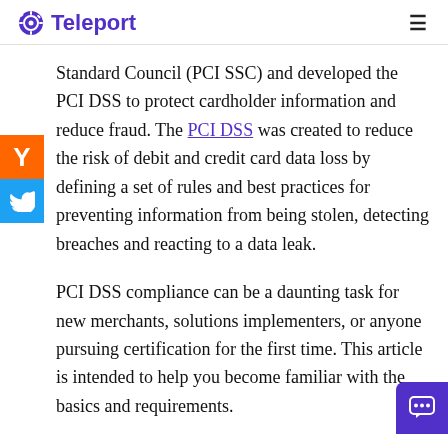Teleport
Standard Council (PCI SSC) and developed the PCI DSS to protect cardholder information and reduce fraud. The PCI DSS was created to reduce the risk of debit and credit card data loss by defining a set of rules and best practices for preventing information from being stolen, detecting breaches and reacting to a data leak.
PCI DSS compliance can be a daunting task for new merchants, solutions implementers, or anyone pursuing certification for the first time. This article is intended to help you become familiar with the basics and requirements.